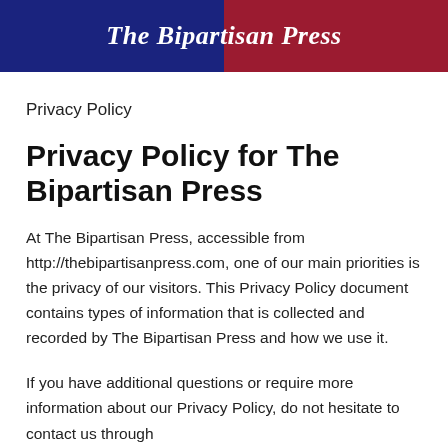The Bipartisan Press
Privacy Policy
Privacy Policy for The Bipartisan Press
At The Bipartisan Press, accessible from http://thebipartisanpress.com, one of our main priorities is the privacy of our visitors. This Privacy Policy document contains types of information that is collected and recorded by The Bipartisan Press and how we use it.
If you have additional questions or require more information about our Privacy Policy, do not hesitate to contact us through